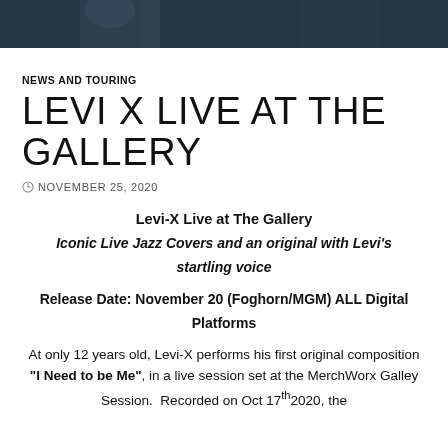[Figure (photo): Dark photo strip at top of page showing a partial portrait/figure in dark blue-gray tones]
NEWS AND TOURING
LEVI X LIVE AT THE GALLERY
NOVEMBER 25, 2020
Levi-X Live at The Gallery
Iconic Live Jazz Covers and an original with Levi's startling voice
Release Date: November 20 (Foghorn/MGM) ALL Digital Platforms
At only 12 years old, Levi-X performs his first original composition "I Need to be Me", in a live session set at the MerchWorx Galley Session.  Recorded on Oct 17th2020, the